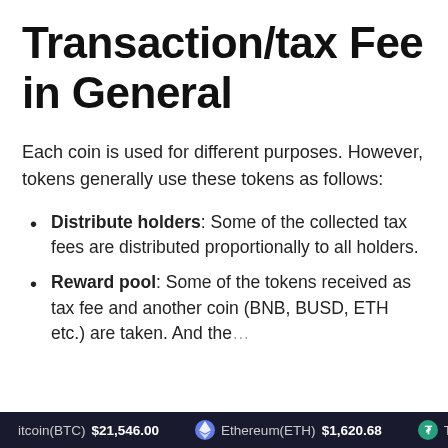Transaction/tax Fee in General
Each coin is used for different purposes. However, tokens generally use these tokens as follows:
Distribute holders: Some of the collected tax fees are distributed proportionally to all holders.
Reward pool: Some of the tokens received as tax fee and another coin (BNB, BUSD, ETH etc.) are taken. And the…
Bitcoin(BTC) $21,546.00   Ethereum(ETH) $1,620.68   Tether…